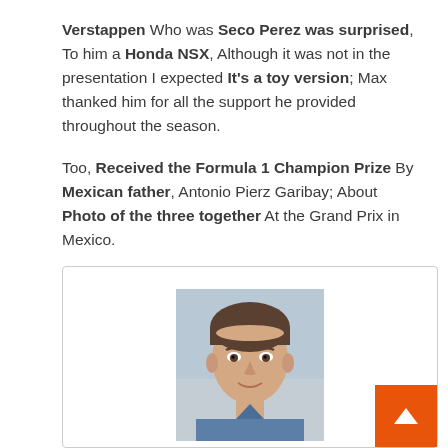Verstappen Who was Seco Perez was surprised, To him a Honda NSX, Although it was not in the presentation I expected It's a toy version; Max thanked him for all the support he provided throughout the season.

Too, Received the Formula 1 Champion Prize By Mexican father, Antonio Pierz Garibay; About Photo of the three together At the Grand Prix in Mexico.
[Figure (photo): Portrait photo of a young man looking at camera, wearing a blue shirt, with light background. Below the photo is the name 'Donald Bowen'.]
Donald Bowen